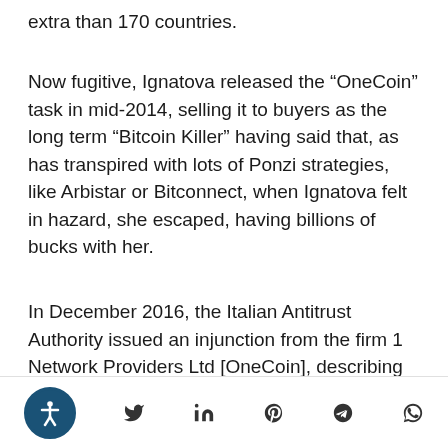extra than 170 countries.
Now fugitive, Ignatova released the &#8220;OneCoin&#8221; task in mid-2014, selling it to buyers as the long term &#8220;Bitcoin Killer&#8221; having said that, as has transpired with lots of Ponzi strategies, like Arbistar or Bitconnect, when Ignatova felt in hazard, she escaped, having billions of bucks with her.
In December 2016, the Italian Antitrust Authority issued an injunction from the firm 1 Network Providers Ltd [OneCoin], describing its actions as an &#8220;illegal pyramid gross sales
Accessibility | Twitter | LinkedIn | Pinterest | Telegram | WhatsApp